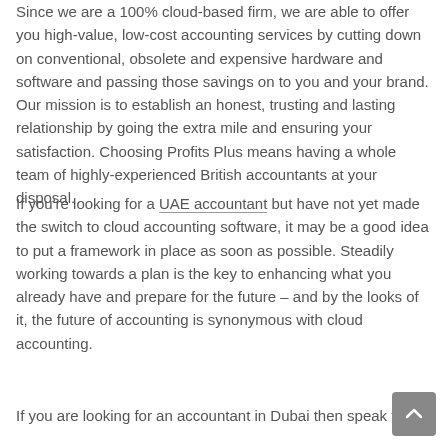Since we are a 100% cloud-based firm, we are able to offer you high-value, low-cost accounting services by cutting down on conventional, obsolete and expensive hardware and software and passing those savings on to you and your brand. Our mission is to establish an honest, trusting and lasting relationship by going the extra mile and ensuring your satisfaction. Choosing Profits Plus means having a whole team of highly-experienced British accountants at your disposal.
If you're looking for a UAE accountant but have not yet made the switch to cloud accounting software, it may be a good idea to put a framework in place as soon as possible. Steadily working towards a plan is the key to enhancing what you already have and prepare for the future – and by the looks of it, the future of accounting is synonymous with cloud accounting.
If you are looking for an accountant in Dubai then speak to